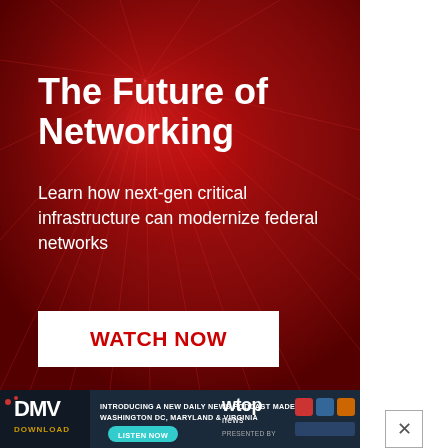[Figure (illustration): Advertisement banner with dark red background featuring radial burst pattern. Shows 'The Future of Networking' promotional content for federal network modernization.]
The Future of Networking
Learn how next-gen critical infrastructure can modernize federal networks
WATCH NOW
[Figure (infographic): Bottom banner for DMV Download podcast. Text: 'INTRODUCING A NEW DAILY NEWS PODCAST MADE FOR WASHINGTON DC, MARYLAND & VIRGINIA'. Includes DMV Download logo, LISTEN NOW button, wtop news logo, and PRESENTED BY logos.]